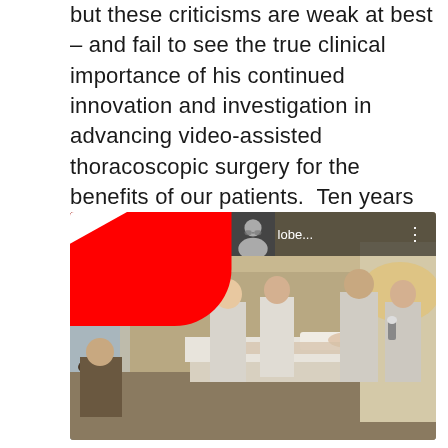but these criticisms are weak at best – and fail to see the true clinical importance of his continued innovation and investigation in advancing video-assisted thoracoscopic surgery for the benefits of our patients.  Ten years from now – single incision VATS will be a common procedure, and Drs. Gonzalez, Fernandez and De la Torre will be the ones responsible.
[Figure (screenshot): YouTube video thumbnail showing a hospital room scene with medical staff attending to a patient in bed. The video title reads 'operacion cancer pulmon lobe...' with a YouTube play button overlay and a circular profile picture in the top-left corner.]